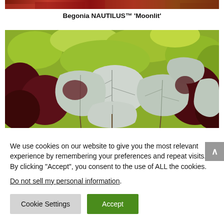[Figure (photo): Top partial image of red/orange flowers or foliage (cropped at top of page)]
Begonia NAUTILUS™ 'Moonlit'
[Figure (photo): Photograph of Begonia NAUTILUS Moonlit plant with silver-white patterned leaves with dark red/maroon undersides, set against a background of yellow-green foliage]
We use cookies on our website to give you the most relevant experience by remembering your preferences and repeat visits. By clicking “Accept”, you consent to the use of ALL the cookies.
Do not sell my personal information.
Cookie Settings
Accept